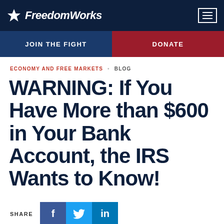FreedomWorks
JOIN THE FIGHT | DONATE
ECONOMY AND FREE MARKETS • BLOG
WARNING: If You Have More than $600 in Your Bank Account, the IRS Wants to Know!
SHARE